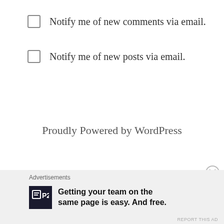Notify me of new comments via email.
Notify me of new posts via email.
Proudly Powered by WordPress
Advertisements
Getting your team on the same page is easy. And free.